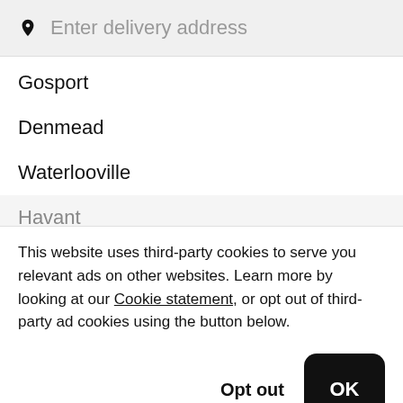Enter delivery address
Gosport
Denmead
Waterlooville
Havant
This website uses third-party cookies to serve you relevant ads on other websites. Learn more by looking at our Cookie statement, or opt out of third-party ad cookies using the button below.
Opt out
OK